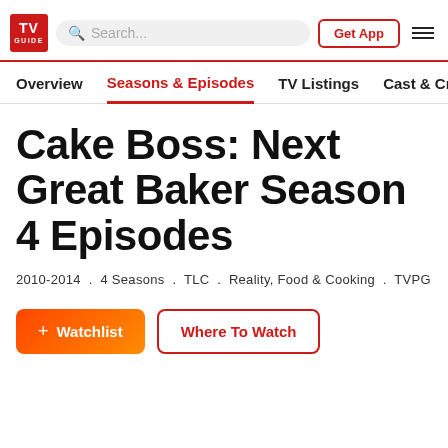TV Guide — Search bar — Get App — Menu
Overview  Seasons & Episodes  TV Listings  Cast & Crew
Cake Boss: Next Great Baker Season 4 Episodes
2010-2014 . 4 Seasons . TLC . Reality, Food & Cooking . TVPG
+ Watchlist
Where To Watch